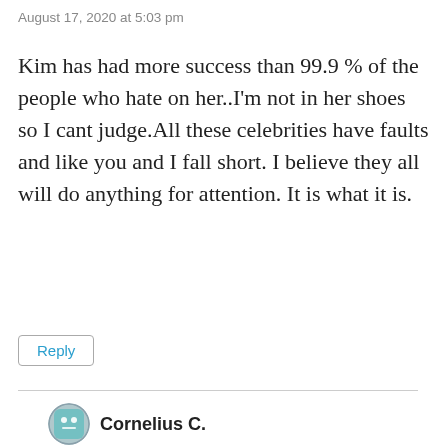August 17, 2020 at 5:03 pm
Kim has had more success than 99.9 % of the people who hate on her..I'm not in her shoes so I cant judge.All these celebrities have faults and like you and I fall short. I believe they all will do anything for attention. It is what it is.
Reply
Cornelius C.
August 17, 2020 at 5:28 pm
Keyword: had. She's had things repossessed and tax issues, hence living the way she used